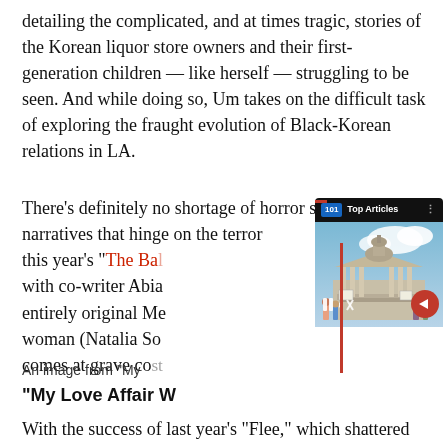detailing the complicated, and at times tragic, stories of the Korean liquor store owners and their first-generation children — like herself — struggling to be seen. And while doing so, Um takes on the difficult task of exploring the fraught evolution of Black-Korean relations in LA.
There's definitely no shortage of horror screen narratives that hinge on the terror [partially obscured] this year's "The Ba[lad..." with co-writer Abia[...] an entirely original Me[...] woman (Natalia Sc[...]) comes at grave co[st...]
[Figure (screenshot): Top Articles overlay card with a photo of protesters in front of a capitol building]
An image from "My[...]
"My Love Affair W[ith...]"
With the success of last year's "Flee," which shattered all